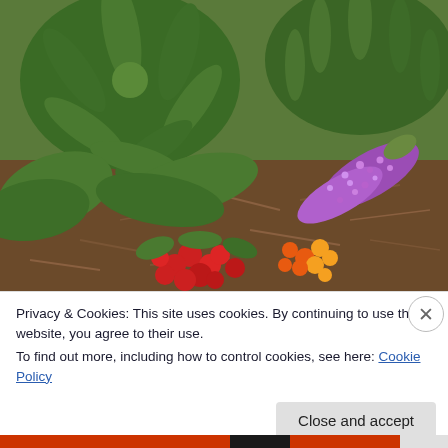[Figure (photo): Garden photo showing green leafy plants (lupine-like foliage) with a purple butterfly bush flower spike, red berries, and small orange-yellow flowers on a mulch background.]
Privacy & Cookies: This site uses cookies. By continuing to use this website, you agree to their use.
To find out more, including how to control cookies, see here: Cookie Policy